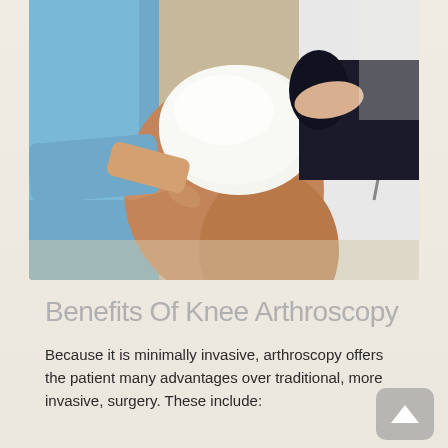[Figure (photo): Medical examination photo showing a healthcare professional examining a patient's knee. The patient's leg is bent and wrapped in white bandage/cloth at the knee. A person in blue scrubs holds the knee from one side, while a doctor in a white coat with a stethoscope is visible on the right. The image is cropped showing primarily the legs and hands.]
Benefits Of Knee Arthroscopy
Because it is minimally invasive, arthroscopy offers the patient many advantages over traditional, more invasive, surgery. These include: